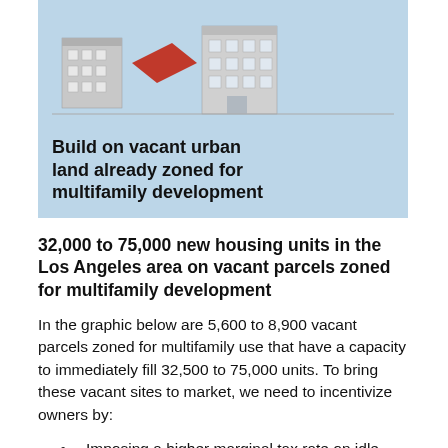[Figure (illustration): Illustration of urban buildings with a red vacant lot between them on a light blue background, with bold text reading 'Build on vacant urban land already zoned for multifamily development']
32,000 to 75,000 new housing units in the Los Angeles area on vacant parcels zoned for multifamily development
In the graphic below are 5,600 to 8,900 vacant parcels zoned for multifamily use that have a capacity to immediately fill 32,500 to 75,000 units. To bring these vacant sites to market, we need to incentivize owners by:
Imposing a higher marginal tax rate on idle urban land than on improved urban land.
Assessing vacant sites as if they contained